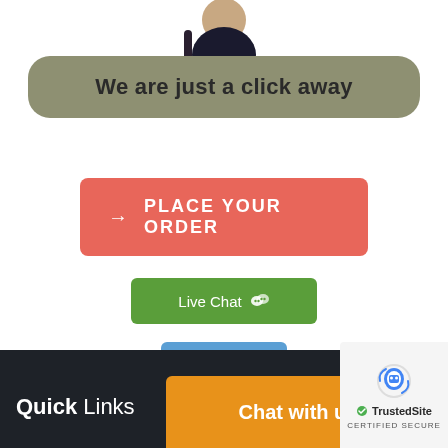[Figure (photo): Partial view of a person sitting cross-legged, visible from waist down, wearing jeans, at the top of the page]
We are just a click away
[Figure (other): Red rounded button with arrow icon and text 'PLACE YOUR ORDER']
[Figure (other): Green button with WeChat icon and text 'Live Chat']
[Figure (other): Blue button with text 'FAQs']
Quick Links
[Figure (other): Orange button with text 'Chat with us']
[Figure (other): TrustedSite certified secure badge with reCAPTCHA-style logo]